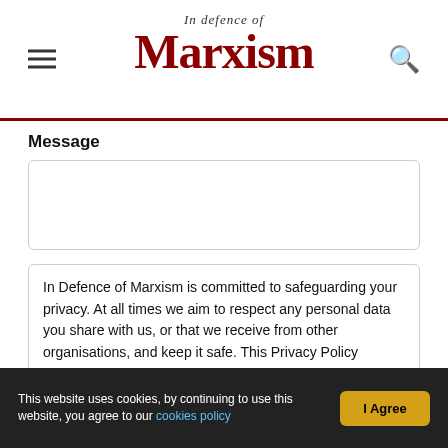In Defence of Marxism
Message
In Defence of Marxism is committed to safeguarding your privacy. At all times we aim to respect any personal data you share with us, or that we receive from other organisations, and keep it safe. This Privacy Policy (“Policy”) sets out our data collection and processing practices and your options regarding the ways in which your personal information is used.
This website uses cookies, by continuing to use this website, you agree to our cookies policy